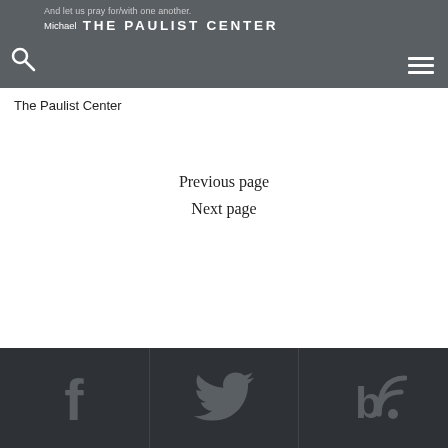And let us pray for/with one another. Michael | THE PAULIST CENTER
The Paulist Center
Previous page
Next page
DIRECTIONS & PARKING +
MASS SCHEDULE +
WAYS TO GIVE +
[Figure (illustration): Footer bar with three social media icons: Facebook (f), Twitter (bird), and Blog (b with RSS wave)]